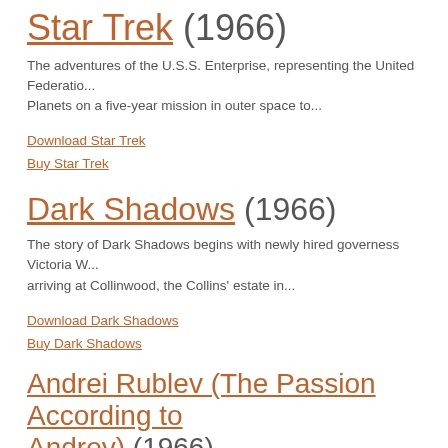Star Trek (1966)
The adventures of the U.S.S. Enterprise, representing the United Federation of Planets on a five-year mission in outer space to...
Download Star Trek
Buy Star Trek
Dark Shadows (1966)
The story of Dark Shadows begins with newly hired governess Victoria W... arriving at Collinwood, the Collins' estate in...
Download Dark Shadows
Buy Dark Shadows
Andrei Rublev (The Passion According to Andrey) (1966)
The life, times and afflictions of the fifteenth-century Russian iconographer Andrei Rublev.
Andreiv Rublev...